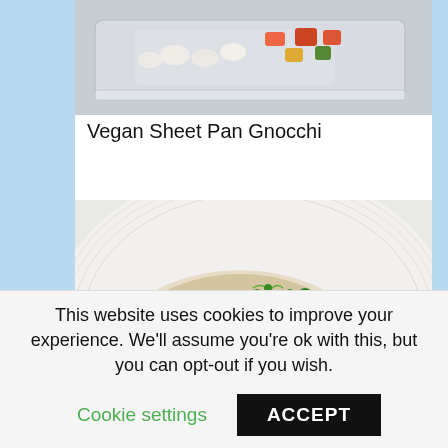[Figure (photo): Top portion of a food photo showing a colorful dish in a baking tray, partially cropped at the top of the page]
Vegan Sheet Pan Gnocchi
[Figure (photo): Close-up photo of a dish on a white plate featuring risotto or gnocchi topped with green peas, microgreens, dill, and melted cheese]
This website uses cookies to improve your experience. We'll assume you're ok with this, but you can opt-out if you wish.
Cookie settings
ACCEPT